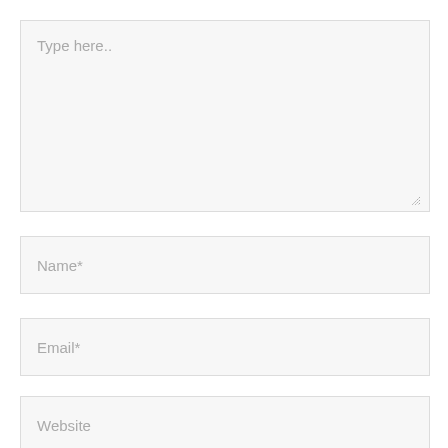Type here..
Name*
Email*
Website